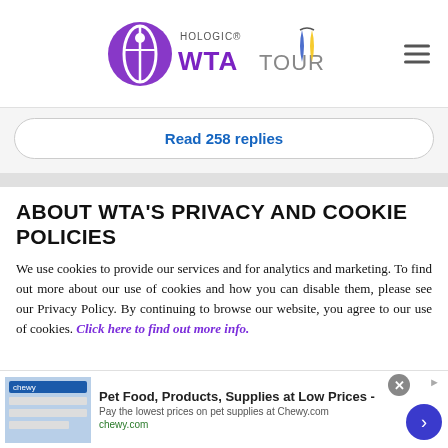Hologic WTA Tour logo with ribbon
Read 258 replies
ABOUT WTA'S PRIVACY AND COOKIE POLICIES
We use cookies to provide our services and for analytics and marketing. To find out more about our use of cookies and how you can disable them, please see our Privacy Policy. By continuing to browse our website, you agree to our use of cookies. Click here to find out more info.
[Figure (infographic): Chewy.com advertisement banner: Pet Food, Products, Supplies at Low Prices - Pay the lowest prices on pet supplies at Chewy.com]